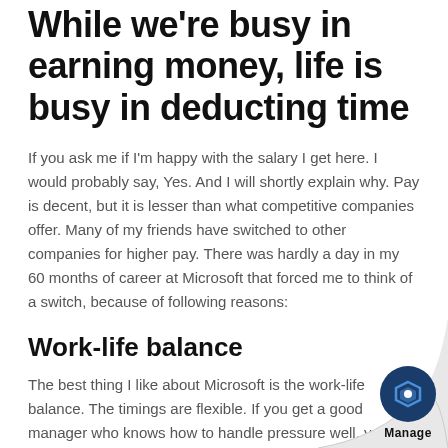While we're busy in earning money, life is busy in deducting time
If you ask me if I'm happy with the salary I get here. I would probably say, Yes. And I will shortly explain why. Pay is decent, but it is lesser than what competitive companies offer. Many of my friends have switched to other companies for higher pay. There was hardly a day in my 60 months of career at Microsoft that forced me to think of a switch, because of following reasons:
Work-life balance
The best thing I like about Microsoft is the work-life balance. The timings are flexible. If you get a good manager who knows how to handle pressure well, you won't have to work overnight unless it's absolutely necessary.
Company culture and vision
At Microsoft, we strive to build products that amaze custom…